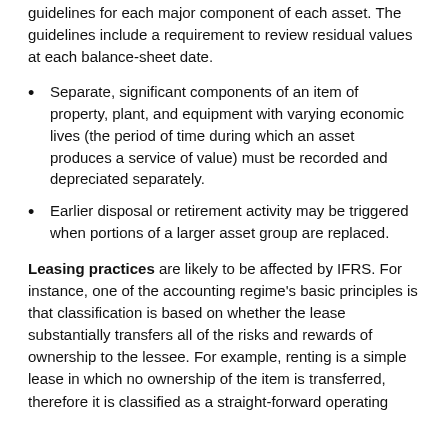guidelines for each major component of each asset. The guidelines include a requirement to review residual values at each balance-sheet date.
Separate, significant components of an item of property, plant, and equipment with varying economic lives (the period of time during which an asset produces a service of value) must be recorded and depreciated separately.
Earlier disposal or retirement activity may be triggered when portions of a larger asset group are replaced.
Leasing practices are likely to be affected by IFRS. For instance, one of the accounting regime's basic principles is that classification is based on whether the lease substantially transfers all of the risks and rewards of ownership to the lessee. For example, renting is a simple lease in which no ownership of the item is transferred, therefore it is classified as a straight-forward operating